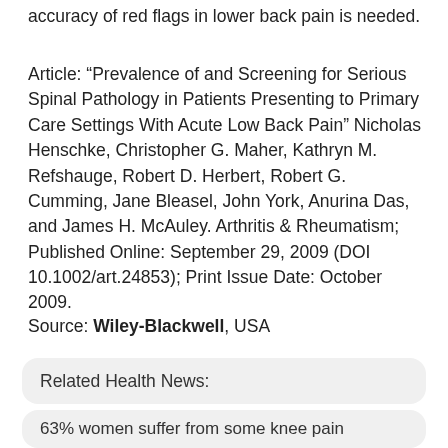accuracy of red flags in lower back pain is needed.
Article: “Prevalence of and Screening for Serious Spinal Pathology in Patients Presenting to Primary Care Settings With Acute Low Back Pain” Nicholas Henschke, Christopher G. Maher, Kathryn M. Refshauge, Robert D. Herbert, Robert G. Cumming, Jane Bleasel, John York, Anurina Das, and James H. McAuley. Arthritis & Rheumatism; Published Online: September 29, 2009 (DOI 10.1002/art.24853); Print Issue Date: October 2009.
Source: Wiley-Blackwell, USA
Related Health News:
63% women suffer from some knee pain